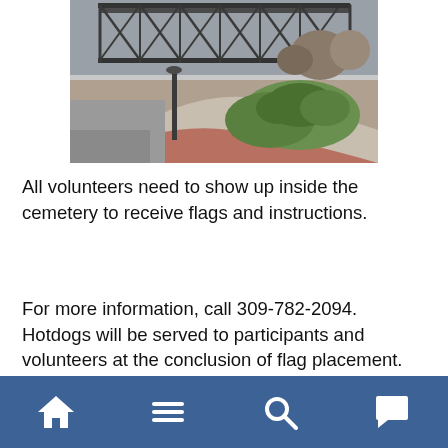[Figure (photo): Outdoor photo showing a riverfront park or plaza area beneath a large steel bridge structure. The foreground shows a curved brick/concrete pathway with a lamppost, green grass, and shrubbery. The background shows the bridge's steel trusses and bare trees.]
All volunteers need to show up inside the cemetery to receive flags and instructions.
For more information, call 309-782-2094. Hotdogs will be served to participants and volunteers at the conclusion of flag placement. Work to remove the flags begins at 8 a.m., Tuesday, May 31 weather permitting.
Navigation bar with home, menu, search, and comment icons